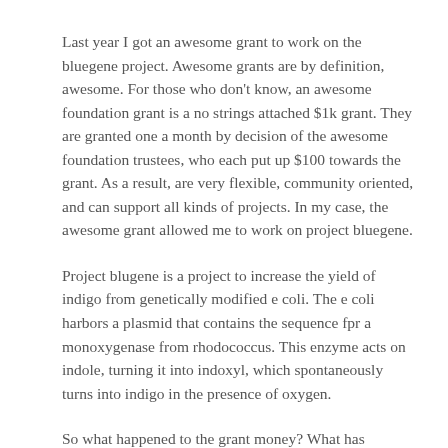Last year I got an awesome grant to work on the bluegene project. Awesome grants are by definition, awesome. For those who don't know, an awesome foundation grant is a no strings attached $1k grant. They are granted one a month by decision of the awesome foundation trustees, who each put up $100 towards the grant.  As a result, are very flexible, community oriented, and can support all kinds of projects. In my case, the awesome grant allowed me to work on project bluegene.
Project blugene is a project to increase the yield of indigo from genetically modified e coli. The e coli harbors a plasmid that contains the sequence fpr a monoxygenase from rhodococcus. This enzyme acts on indole, turning it into indoxyl, which spontaneously turns into indigo in the presence of oxygen.
So what happened to the grant money? What has